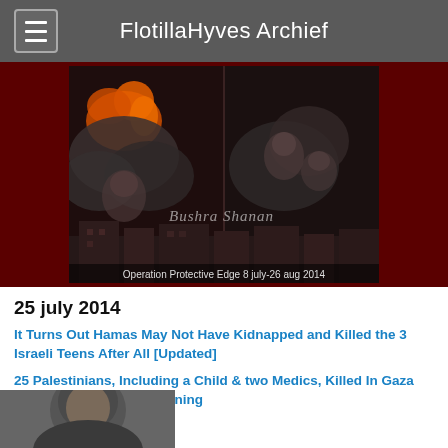FlotillaHyves Archief
[Figure (photo): War/conflict composite image showing explosions, smoke clouds, and faces of children overlaid. Caption reads 'Bushra Shanan' and 'Operation Protective Edge 8 july-26 aug 2014'. Background is dark red/maroon.]
25 july 2014
It Turns Out Hamas May Not Have Kidnapped and Killed the 3 Israeli Teens After All [Updated]
25 Palestinians, Including a Child & two Medics, Killed In Gaza Friday afternoon and evening
[Figure (photo): Partial view of a person's face/head at the bottom of the page, cropped.]